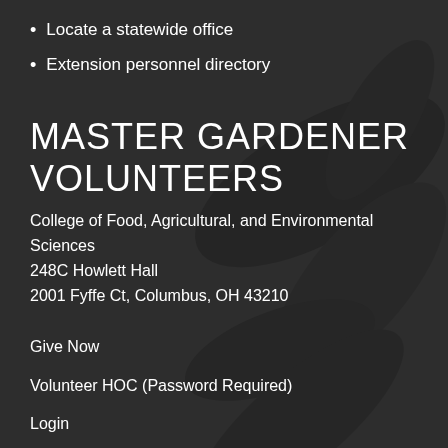Locate a statewide office
Extension personnel directory
MASTER GARDENER VOLUNTEERS
College of Food, Agricultural, and Environmental Sciences
248C Howlett Hall
2001 Fyffe Ct, Columbus, OH 43210
Give Now
Volunteer HOC (Password Required)
Login